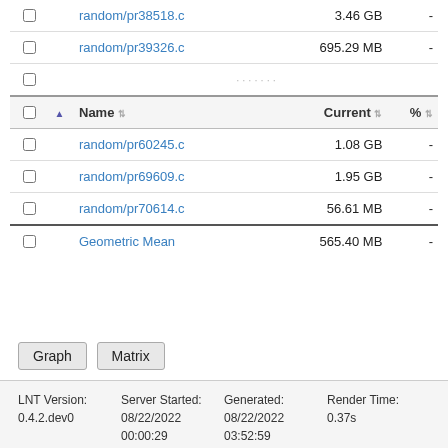|  |  | Name |  | Current |  | % |
| --- | --- | --- | --- | --- | --- | --- |
| ☐ |  | random/pr38518.c |  | 3.46 GB |  | - |
| ☐ |  | random/pr39326.c |  | 695.29 MB |  | - |
| ☐ | ▲ | Name |  | Current |  | % |
| ☐ |  | random/pr60245.c |  | 1.08 GB |  | - |
| ☐ |  | random/pr69609.c |  | 1.95 GB |  | - |
| ☐ |  | random/pr70614.c |  | 56.61 MB |  | - |
| ☐ |  | Geometric Mean |  | 565.40 MB |  | - |
Graph   Matrix
LNT Version: 0.4.2.dev0   Server Started: 08/22/2022 00:00:29   Generated: 08/22/2022 03:52:59   Render Time: 0.37s